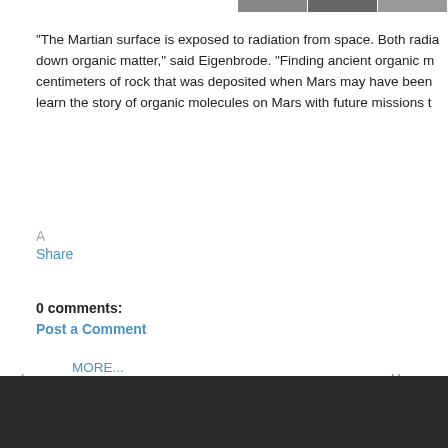[Figure (photo): Three small thumbnail images of Mars surface at top right, shown as a horizontal strip]
“The Martian surface is exposed to radiation from space. Both radia down organic matter,” said Eigenbrode. “Finding ancient organic m centimeters of rock that was deposited when Mars may have been learn the story of organic molecules on Mars with future missions t
MORE...
A
Share
0 comments:
Post a Comment
‹
Home
View web version